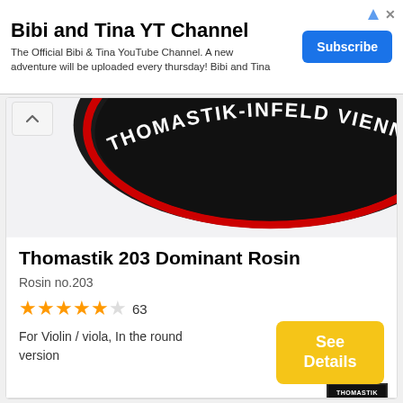Bibi and Tina YT Channel
The Official Bibi & Tina YouTube Channel. A new adventure will be uploaded every thursday! Bibi and Tina
[Figure (photo): Close-up photo of a circular black rosin tin with red accent ring. White text on the tin reads THOMASTIK-INFELD VIENNA]
Thomastik 203 Dominant Rosin
Rosin no.203
[Figure (logo): Thomastik-Infeld Vienna brand logo in black and white square format]
63
For Violin / viola, In the round version